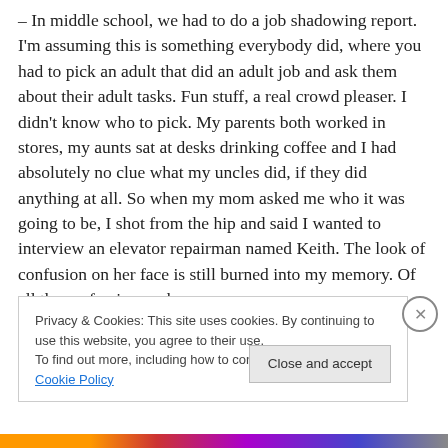– In middle school, we had to do a job shadowing report. I'm assuming this is something everybody did, where you had to pick an adult that did an adult job and ask them about their adult tasks. Fun stuff, a real crowd pleaser. I didn't know who to pick. My parents both worked in stores, my aunts sat at desks drinking coffee and I had absolutely no clue what my uncles did, if they did anything at all. So when my mom asked me who it was going to be, I shot from the hip and said I wanted to interview an elevator repairman named Keith. The look of confusion on her face is still burned into my memory. Of all the professions, why
Privacy & Cookies: This site uses cookies. By continuing to use this website, you agree to their use.
To find out more, including how to control cookies, see here: Cookie Policy